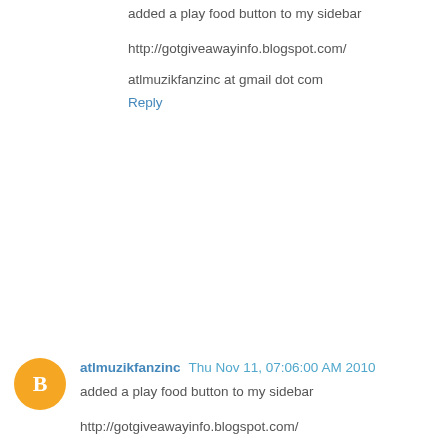added a play food button to my sidebar
http://gotgiveawayinfo.blogspot.com/
atlmuzikfanzinc at gmail dot com
Reply
atlmuzikfanzinc  Thu Nov 11, 07:06:00 AM 2010
added a play food button to my sidebar
http://gotgiveawayinfo.blogspot.com/
atlmuzikfanzinc at gmail dot com
Reply
atlmuzikfanzinc  Thu Nov 11, 07:06:00 AM 2010
added a play food button to my sidebar
http://gotgiveawayinfo.blogspot.com/